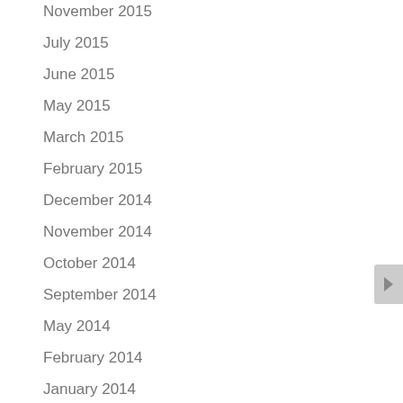November 2015
July 2015
June 2015
May 2015
March 2015
February 2015
December 2014
November 2014
October 2014
September 2014
May 2014
February 2014
January 2014
December 2013
October 2013